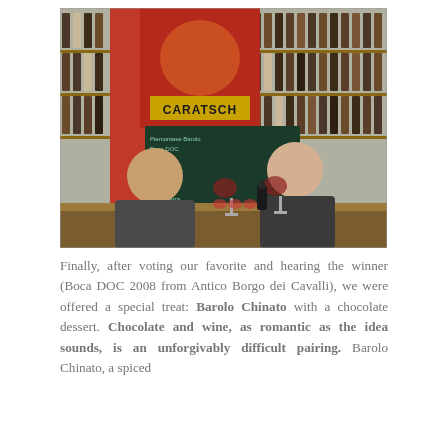[Figure (photo): Two people sitting at a bar/wine shop counter holding wine glasses, smiling at the camera. Behind them is a red wall with a sign reading 'CARATSCH', a chalkboard menu, and shelves filled with wine bottles.]
Finally, after voting our favorite and hearing the winner (Boca DOC 2008 from Antico Borgo dei Cavalli), we were offered a special treat: Barolo Chinato with a chocolate dessert. Chocolate and wine, as romantic as the idea sounds, is an unforgivably difficult pairing. Barolo Chinato, a spiced